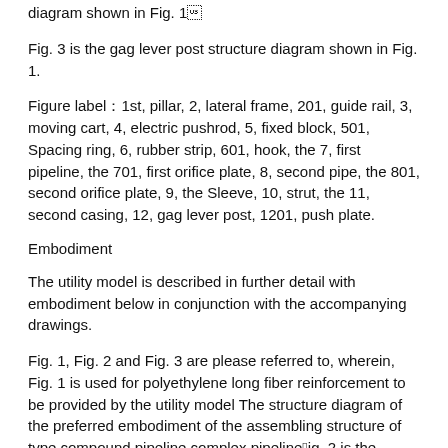diagram shown in Fig. 1.
Fig. 3 is the gag lever post structure diagram shown in Fig. 1.
Figure label 1st, pillar, 2, lateral frame, 201, guide rail, 3, moving cart, 4, electric pushrod, 5, fixed block, 501, Spacing ring, 6, rubber strip, 601, hook, the 7, first pipeline, the 701, first orifice plate, 8, second pipe, the 801, second orifice plate, 9, the Sleeve, 10, strut, the 11, second casing, 12, gag lever post, 1201, push plate.
Embodiment
The utility model is described in further detail with embodiment below in conjunction with the accompanying drawings.
Fig. 1, Fig. 2 and Fig. 3 are please referred to, wherein, Fig. 1 is used for polyethylene long fiber reinforcement to be provided by the utility model The structure diagram of the preferred embodiment of the assembling structure of type compound pipeline complex pipeline；Fig. 2 is the rubber belt mounting structure signal shown in Fig. 1 Figure；Fig. 3 is the gag lever post structure diagram shown in Fig.